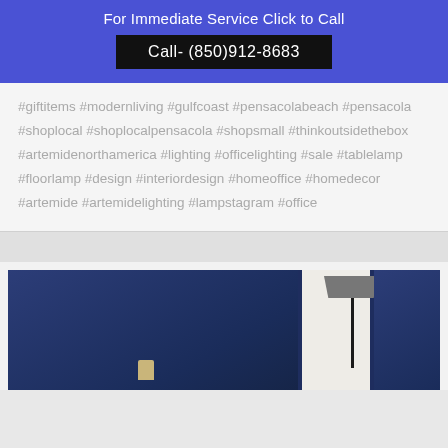For Immediate Service Click to Call
Call- (850)912-8683
#giftitems #modernliving #gulfcoast #pensacolabeach #pensacola #shoplocal #shoplocalpensacola #shopsmall #thinkoutsidethebox #artemidenorthamerica #lighting #officelighting #sale #tablelamp #floorlamp #design #interiordesign #homeoffice #homedecor #artemide #artemidelighting #lampstagram #office
[Figure (photo): Photo of lighting/lamp products displayed against a dark blue background, showing floor lamp and table lamp]